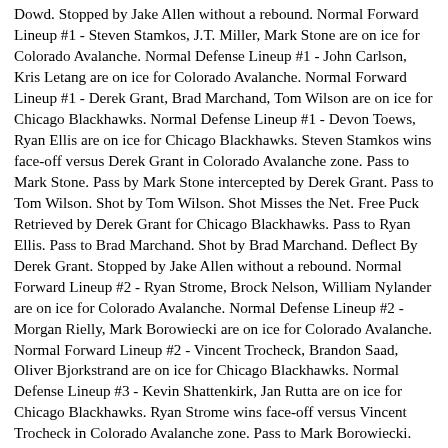Dowd. Stopped by Jake Allen without a rebound. Normal Forward Lineup #1 - Steven Stamkos, J.T. Miller, Mark Stone are on ice for Colorado Avalanche. Normal Defense Lineup #1 - John Carlson, Kris Letang are on ice for Colorado Avalanche. Normal Forward Lineup #1 - Derek Grant, Brad Marchand, Tom Wilson are on ice for Chicago Blackhawks. Normal Defense Lineup #1 - Devon Toews, Ryan Ellis are on ice for Chicago Blackhawks. Steven Stamkos wins face-off versus Derek Grant in Colorado Avalanche zone. Pass to Mark Stone. Pass by Mark Stone intercepted by Derek Grant. Pass to Tom Wilson. Shot by Tom Wilson. Shot Misses the Net. Free Puck Retrieved by Derek Grant for Chicago Blackhawks. Pass to Ryan Ellis. Pass to Brad Marchand. Shot by Brad Marchand. Deflect By Derek Grant. Stopped by Jake Allen without a rebound. Normal Forward Lineup #2 - Ryan Strome, Brock Nelson, William Nylander are on ice for Colorado Avalanche. Normal Defense Lineup #2 - Morgan Rielly, Mark Borowiecki are on ice for Colorado Avalanche. Normal Forward Lineup #2 - Vincent Trocheck, Brandon Saad, Oliver Bjorkstrand are on ice for Chicago Blackhawks. Normal Defense Lineup #3 - Kevin Shattenkirk, Jan Rutta are on ice for Chicago Blackhawks. Ryan Strome wins face-off versus Vincent Trocheck in Colorado Avalanche zone. Pass to Mark Borowiecki. Mark Borowiecki moves puck in neutral zone. Mark Borowiecki moves puck in Chicago Blackhawks zone. Pass to Ryan Strome. Pass to William Nylander. Pass to Brock Nelson. Shot by Brock Nelson. Goal by